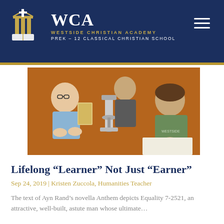WESTSIDE CHRISTIAN ACADEMY | PREK - 12 CLASSICAL CHRISTIAN SCHOOL
[Figure (photo): Students working at a table with a microscope; one student looks through the microscope while another writes on paper]
Lifelong “Learner” Not Just “Earner”
Sep 24, 2019 | Kristen Zuccola, Humanities Teacher
The text of Ayn Rand’s novella Anthem depicts Equality 7-2521, an attractive, well-built, astute man whose ultimate…